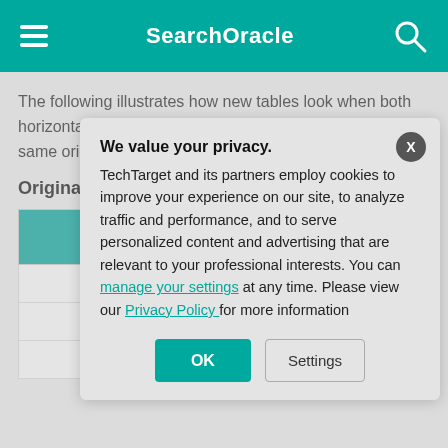SearchOracle
The following illustrates how new tables look when both horizontal and vertical sharding are performed on the same original data set.
Original data set
| Student ID | Na... |
| --- | --- |
| 1 | An... |
| 2 | Ja... |
| 3 | Ma... |
We value your privacy.
TechTarget and its partners employ cookies to improve your experience on our site, to analyze traffic and performance, and to serve personalized content and advertising that are relevant to your professional interests. You can manage your settings at any time. Please view our Privacy Policy for more information